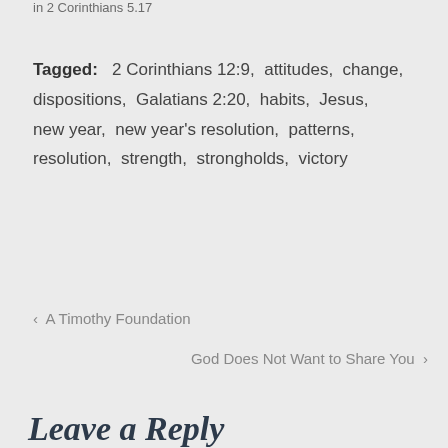in  2 Corinthians 5.17
Tagged:   2 Corinthians 12:9,  attitudes,  change,  dispositions,  Galatians 2:20,  habits,  Jesus,  new year,  new year's resolution,  patterns,  resolution,  strength,  strongholds,  victory
‹  A Timothy Foundation
God Does Not Want to Share You  ›
Leave a Reply